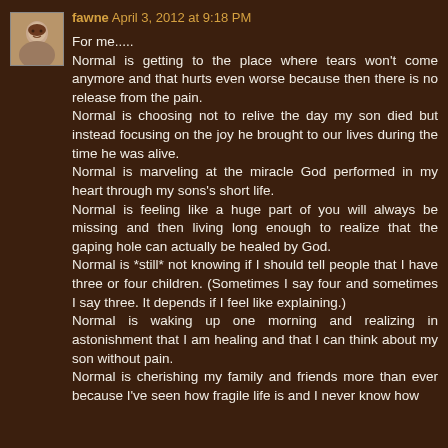[Figure (photo): Small avatar photo of a woman, used as commenter profile picture]
fawne April 3, 2012 at 9:18 PM
For me.....
Normal is getting to the place where tears won't come anymore and that hurts even worse because then there is no release from the pain.
Normal is choosing not to relive the day my son died but instead focusing on the joy he brought to our lives during the time he was alive.
Normal is marveling at the miracle God performed in my heart through my sons's short life.
Normal is feeling like a huge part of you will always be missing and then living long enough to realize that the gaping hole can actually be healed by God.
Normal is *still* not knowing if I should tell people that I have three or four children. (Sometimes I say four and sometimes I say three. It depends if I feel like explaining.)
Normal is waking up one morning and realizing in astonishment that I am healing and that I can think about my son without pain.
Normal is cherishing my family and friends more than ever because I've seen how fragile life is and I never know how